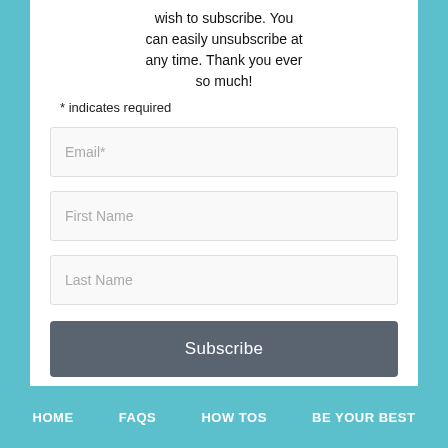wish to subscribe. You can easily unsubscribe at any time. Thank you ever so much!
* indicates required
Email*
First Name
Last Name
Subscribe
HOME   FAQS   HOW TOS   BE YOUR BEST